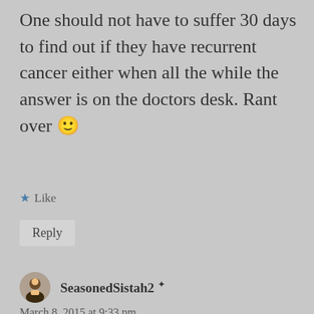One should not have to suffer 30 days to find out if they have recurrent cancer either when all the while the answer is on the doctors desk. Rant over 🙂
★ Like
Reply
SeasonedSistah2 ✦
March 8, 2015 at 9:33 pm